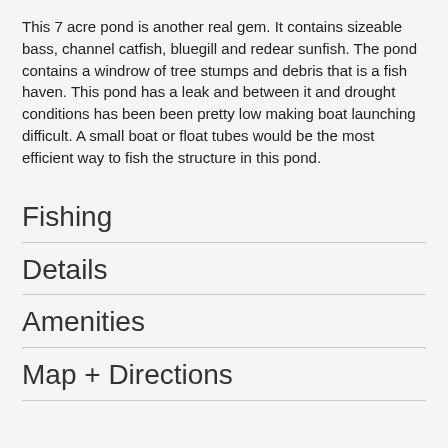This 7 acre pond is another real gem. It contains sizeable bass, channel catfish, bluegill and redear sunfish. The pond contains a windrow of tree stumps and debris that is a fish haven. This pond has a leak and between it and drought conditions has been been pretty low making boat launching difficult. A small boat or float tubes would be the most efficient way to fish the structure in this pond.
Fishing
Details
Amenities
Map + Directions